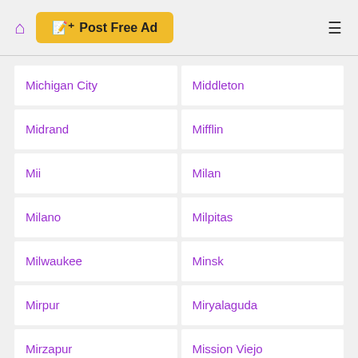Post Free Ad
Michigan City
Middleton
Midrand
Mifflin
Mii
Milan
Milano
Milpitas
Milwaukee
Minsk
Mirpur
Miryalaguda
Mirzapur
Mission Viejo
Miwaukee
Mmankgodi.Maitengwe